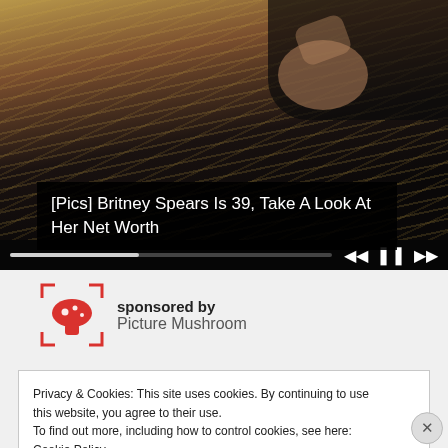[Figure (photo): Video player showing a blonde woman in black leather outfit with player controls overlaid at bottom]
[Pics] Britney Spears Is 39, Take A Look At Her Net Worth
sponsored by
Picture Mushroom
Privacy & Cookies: This site uses cookies. By continuing to use this website, you agree to their use.
To find out more, including how to control cookies, see here: Cookie Policy
Close and accept